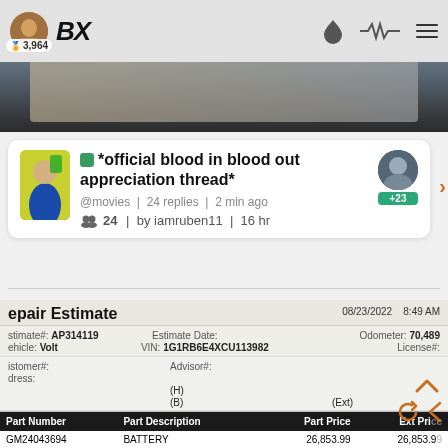BX | 3,964
[Figure (screenshot): Banner image with dark background showing a person]
🏠 *official blood in blood out appreciation thread*
@movies | 24 replies | 2 min ago
👥 24 | by iamruben11 | 16 hr
[Figure (screenshot): Repair Estimate document. Date: 08/23/2022 8:49 AM. Estimate#: AP314119, Vehicle: Volt, VIN: 1G1RB6E4XCU113982, Odometer: 70,489, Estimate Date, License#, Customer#, Address, Advisor#, (H), (B), (Ext). CUSTOMER QUOTE. Operation: N0110 Battery, r&r HYBRID BATTERY REPLACEMENT. Parts table: Part Number GM24043694, Part Description BATTERY, Part Price 26,853.99, Ext Price 26,853.99]